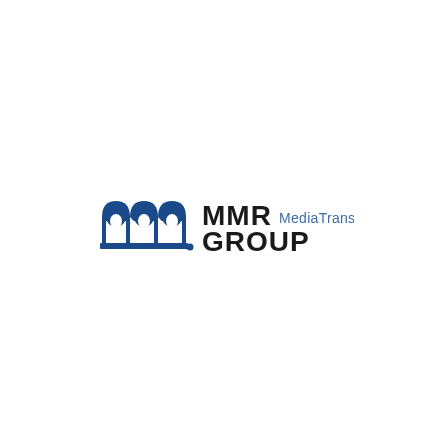[Figure (logo): MMR Group MediaTransfer logo: a blue stylized triple-M mark followed by bold black text 'MMR GROUP' and blue text 'MediaTransfer']